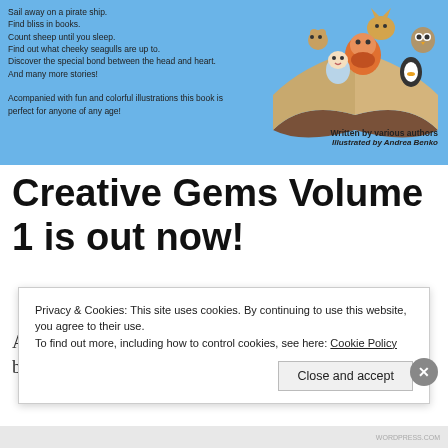[Figure (illustration): Book cover with light blue background showing cartoon animals emerging from an open book on the right side, and descriptive text on the left. Credits at bottom right: 'Written by various authors' and 'Illustrated by Andrea Benko'.]
Creative Gems Volume 1 is out now!
About 4 months ago, I posted a silly idea of making a book together. I asked people to write a… More
Privacy & Cookies: This site uses cookies. By continuing to use this website, you agree to their use. To find out more, including how to control cookies, see here: Cookie Policy
Close and accept